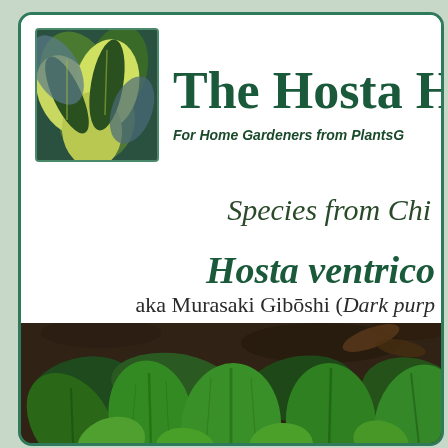[Figure (photo): Hosta leaves with variegated green and yellow striping, shown in header thumbnail]
The Hosta H
For Home Gardeners from PlantsG
Species from Chi
Hosta ventrico
aka Murasaki Gibōshi (Dark purp
[Figure (photo): Photograph of Hosta ventricosa plants growing in dark soil, showing dark green leaves]